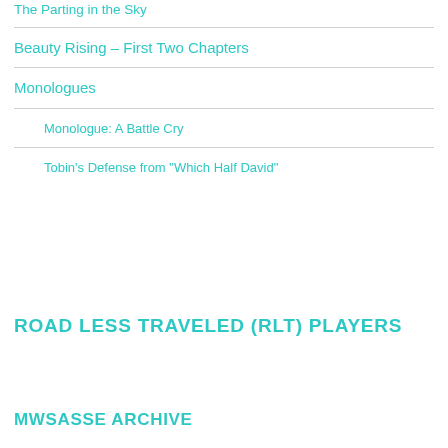The Parting in the Sky
Beauty Rising – First Two Chapters
Monologues
Monologue: A Battle Cry
Tobin's Defense from "Which Half David"
ROAD LESS TRAVELED (RLT) PLAYERS
MWSASSE ARCHIVE